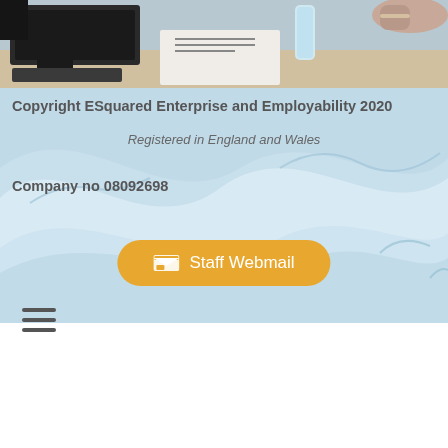[Figure (photo): Photo of a person working at a desk with a laptop and papers, partial view of hands]
Copyright ESquared Enterprise and Employability 2020
Registered in England and Wales
Company no 08092698
Staff Webmail
[Figure (other): Hamburger menu icon (three horizontal lines)]